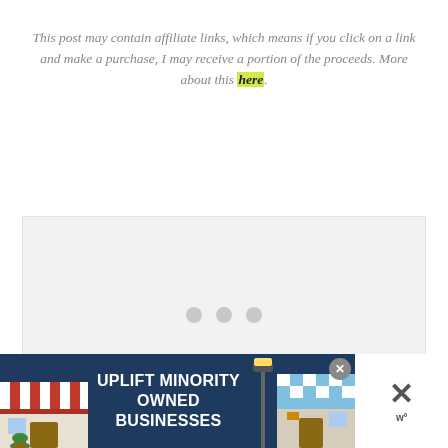This post may contain affiliate links, which means if you click on a link and make a purchase, I may receive a portion of the proceeds. More about this here.
[Figure (other): Ad placeholder box with three grey dots indicating loading or empty ad slot]
[Figure (other): Banner advertisement: UPLIFT MINORITY OWNED BUSINESSES with storefront illustrations on a dark blue background, with a close button (X) and a separate X/wp close widget on the right]